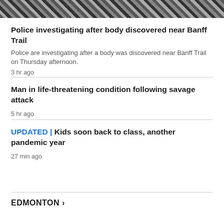[Figure (photo): Hero image at top, appears to be a crowd or outdoor scene in black and white striped/diagonal pattern]
Police investigating after body discovered near Banff Trail
Police are investigating after a body was discovered near Banff Trail on Thursday afternoon.
3 hr ago
Man in life-threatening condition following savage attack
5 hr ago
UPDATED | Kids soon back to class, another pandemic year
27 min ago
EDMONTON >